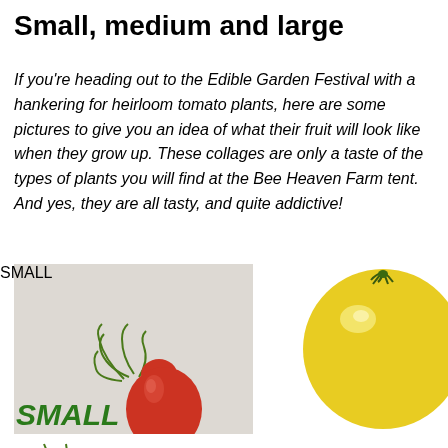Small, medium and large
If you're heading out to the Edible Garden Festival with a hankering for heirloom tomato plants, here are some pictures to give you an idea of what their fruit will look like when they grow up. These collages are only a taste of the types of plants you will find at the Bee Heaven Farm tent. And yes, they are all tasty, and quite addictive!
[Figure (photo): Photo collage of heirloom tomatoes: a red pear-shaped tomato on the left, a yellow round tomato on the upper right, and the top portion of a pink/red round tomato on the lower right. Green label 'SMALL' visible at bottom left.]